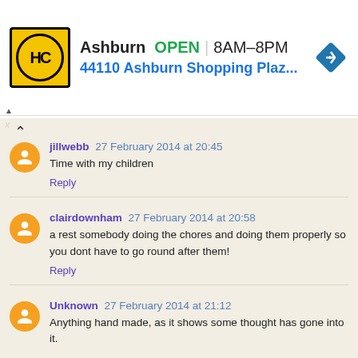[Figure (screenshot): Advertisement banner for HC store in Ashburn. Shows logo (yellow circle with HC letters), store name 'Ashburn', status 'OPEN', hours '8AM-8PM', address '44110 Ashburn Shopping Plaz...', and a blue navigation diamond icon.]
jillwebb 27 February 2014 at 20:45
Time with my children
Reply
clairdownham 27 February 2014 at 20:58
a rest somebody doing the chores and doing them properly so you dont have to go round after them!
Reply
Unknown 27 February 2014 at 21:12
Anything hand made, as it shows some thought has gone into it.